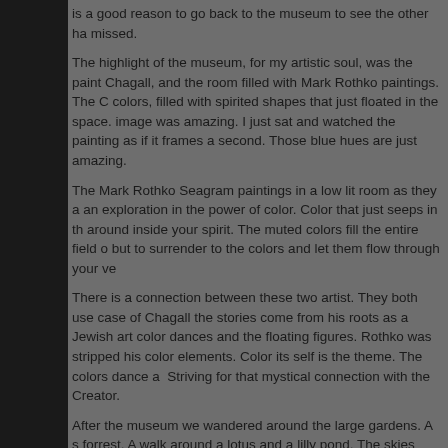is a good reason to go back to the museum to see the other ha missed.
The highlight of the museum, for my artistic soul, was the paint Chagall, and the room filled with Mark Rothko paintings. The C colors, filled with spirited shapes that just floated in the space. image was amazing. I just sat and watched the painting as if it frames a second. Those blue hues are just amazing.
The Mark Rothko Seagram paintings in a low lit room as they a an exploration in the power of color. Color that just seeps in th around inside your spirit. The muted colors fill the entire field o but to surrender to the colors and let them flow through your ve
There is a connection between these two artist. They both use case of Chagall the stories come from his roots as a Jewish art color dances and the floating figures. Rothko was stripped his color elements. Color its self is the theme. The colors dance a Striving for that mystical connection with the Creator.
After the museum we wandered around the large gardens. A s forrest. A walk around a lotus and a lilly pond. The skies were the Chagall paintings, as cotton wisps of clouds speckled the c
A lovely day among art and nature. A perfect combination as th a close. A mystical trip to the sticks of Chiba for art, skies, and